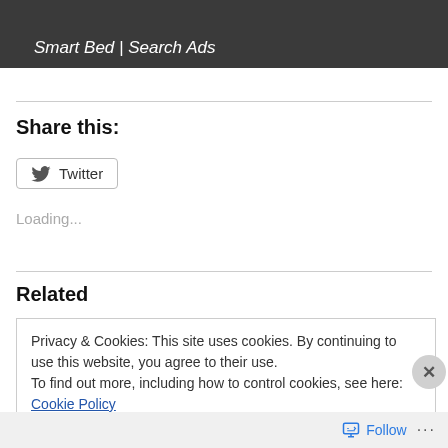[Figure (screenshot): Dark banner at top with italic text 'Smart Bed | Search Ads' and partial image of a smart bed device]
Share this:
[Figure (screenshot): Twitter share button with bird icon and 'Twitter' label]
Loading...
Related
Privacy & Cookies: This site uses cookies. By continuing to use this website, you agree to their use.
To find out more, including how to control cookies, see here: Cookie Policy
Close and accept